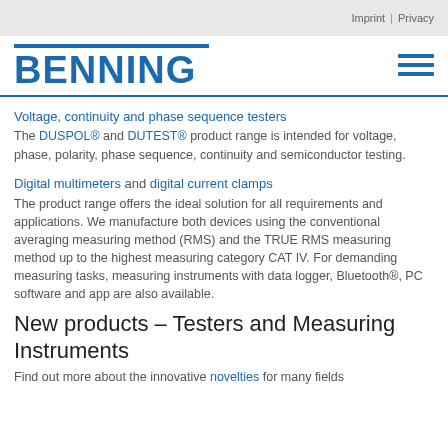Imprint | Privacy
[Figure (logo): BENNING company logo in blue with horizontal bar above and hamburger menu icon on the right]
Voltage, continuity and phase sequence testers
The DUSPOL® and DUTEST® product range is intended for voltage, phase, polarity, phase sequence, continuity and semiconductor testing.
Digital multimeters and digital current clamps
The product range offers the ideal solution for all requirements and applications. We manufacture both devices using the conventional averaging measuring method (RMS) and the TRUE RMS measuring method up to the highest measuring category CAT IV. For demanding measuring tasks, measuring instruments with data logger, Bluetooth®, PC software and app are also available.
New products – Testers and Measuring Instruments
Find out more about the innovative novelties for many fields